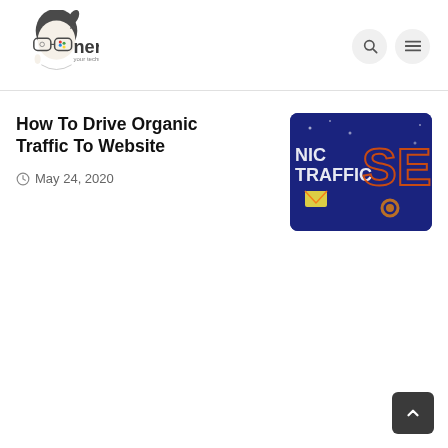[Figure (logo): The Nerdy logo — cartoon nerdy face with glasses and a game controller, text reading 'the nerdy your technical geeks']
How To Drive Organic Traffic To Website
May 24, 2020
[Figure (photo): Blue/purple background image with text 'NIC TRAFFIC' and SEO-related graphic elements including a large 'SEO' text and icons]